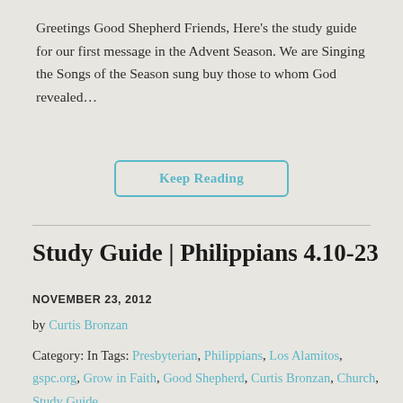Greetings Good Shepherd Friends, Here's the study guide for our first message in the Advent Season. We are Singing the Songs of the Season sung buy those to whom God revealed...
Keep Reading
Study Guide | Philippians 4.10-23
NOVEMBER 23, 2012
by Curtis Bronzan
Category: In Tags: Presbyterian, Philippians, Los Alamitos, gspc.org, Grow in Faith, Good Shepherd, Curtis Bronzan, Church, Study Guide